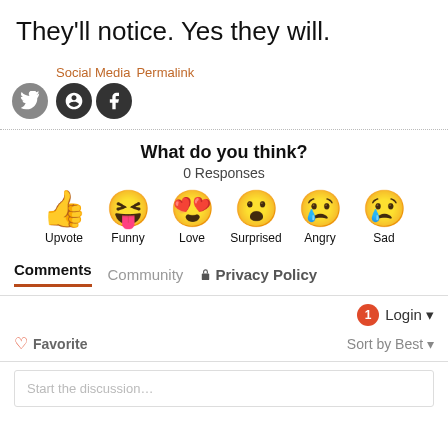They'll notice. Yes they will.
Social Media  Permalink
What do you think?
0 Responses
[Figure (infographic): Six emoji reaction buttons: Upvote (thumbs up), Funny (laughing face with tongue), Love (heart eyes), Surprised (open mouth), Angry (crying/angry face), Sad (crying sad face)]
Comments  Community  🔒 Privacy Policy
1  Login ▼
♡ Favorite  Sort by Best ▼
Start the discussion…